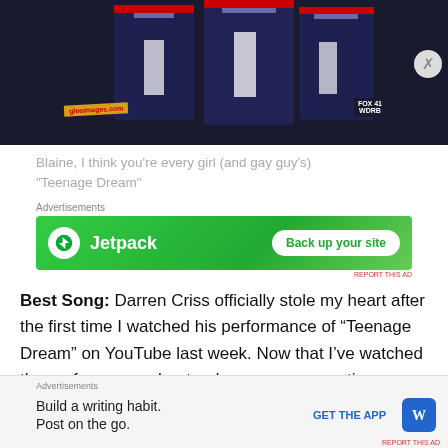[Figure (photo): Screenshot from Glee showing characters in dark blazers with red trim, glee-images.com watermark, FOX 41 WDRB logo in corner]
Blaine, I think you're every girl (and gay guy's) "Teenage Dream"
[Figure (screenshot): Jetpack advertisement: Back up your site]
Best Song: Darren Criss officially stole my heart after the first time I watched his performance of “Teenage Dream” on YouTube last week. Now that I’ve watched the performance about a dozen or so more times, my love has only grown stronger. Darren Criss is adorable as Blaine
[Figure (screenshot): WordPress advertisement: Build a writing habit. Post on the go. GET THE APP]